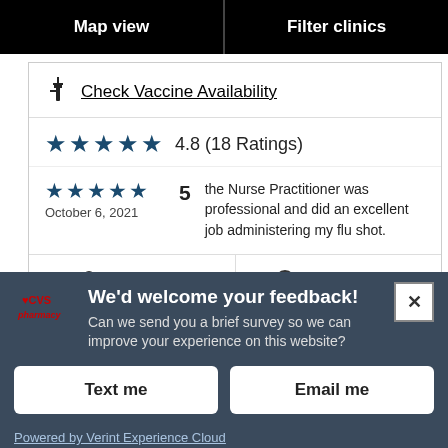Map view
Filter clinics
Check Vaccine Availability
4.8 (18 Ratings)
5  the Nurse Practitioner was professional and did an excellent job administering my flu shot.  October 6, 2021
Directions
Clinic details
We'd welcome your feedback! Can we send you a brief survey so we can improve your experience on this website?
Text me
Email me
Powered by Verint Experience Cloud